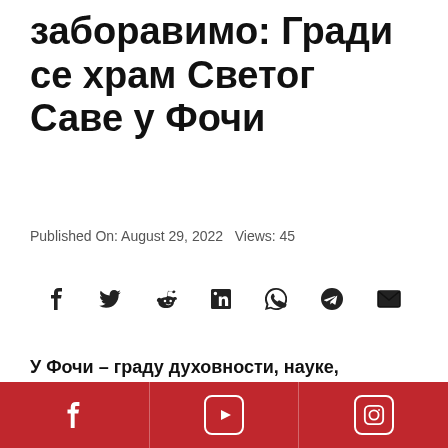забоpавимо: Гради се храм Светог Саве у Фочи
Published On: August 29, 2022   Views: 45
[Figure (infographic): Social media share icons: Facebook, Twitter, Reddit, LinkedIn, WhatsApp, Telegram, Email]
У Фочи – граду духовности, науке, културе, развитка и даровитих људи, вјековна жеља била је изградити храм у центру града
[Figure (infographic): Footer bar with Facebook, YouTube, and Instagram icons on red background]